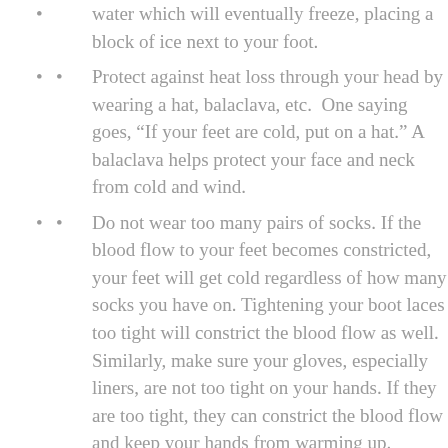water which will eventually freeze, placing a block of ice next to your foot.
Protect against heat loss through your head by wearing a hat, balaclava, etc. One saying goes, “If your feet are cold, put on a hat.” A balaclava helps protect your face and neck from cold and wind.
Do not wear too many pairs of socks. If the blood flow to your feet becomes constricted, your feet will get cold regardless of how many socks you have on. Tightening your boot laces too tight will constrict the blood flow as well. Similarly, make sure your gloves, especially liners, are not too tight on your hands. If they are too tight, they can constrict the blood flow and keep your hands from warming up.